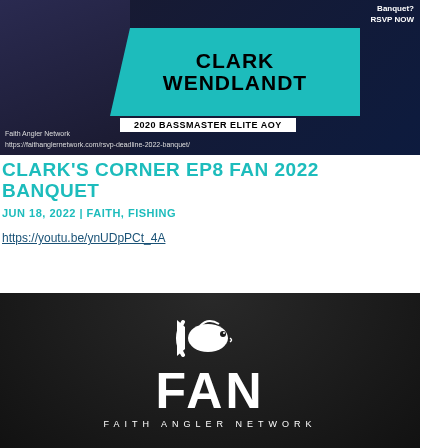[Figure (photo): Promotional image for Faith Angler Network 2022 Banquet featuring Clark Wendlandt, 2020 Bassmaster Elite AOY, with teal graphic overlay, RSVP NOW call to action, and bass fishing imagery on dark navy background.]
CLARK'S CORNER EP8 FAN 2022 BANQUET
JUN 18, 2022 | FAITH, FISHING
https://youtu.be/ynUDpPCt_4A
[Figure (logo): Faith Angler Network (FAN) logo — white bass fish icon above large white FAN letters, with 'FAITH ANGLER NETWORK' text below, on dark background.]